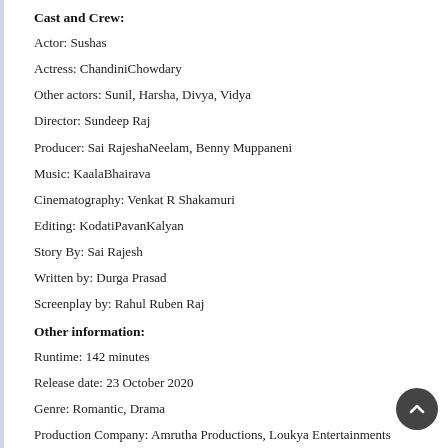Cast and Crew:
Actor: Sushas
Actress: ChandiniChowdary
Other actors: Sunil, Harsha, Divya, Vidya
Director: Sundeep Raj
Producer: Sai RajeshaNeelam, Benny Muppaneni
Music: KaalaBhairava
Cinematography: Venkat R Shakamuri
Editing: KodatiPavanKalyan
Story By: Sai Rajesh
Written by: Durga Prasad
Screenplay by: Rahul Ruben Raj
Other information:
Runtime: 142 minutes
Release date: 23 October 2020
Genre: Romantic, Drama
Production Company: Amrutha Productions, Loukya Entertainments